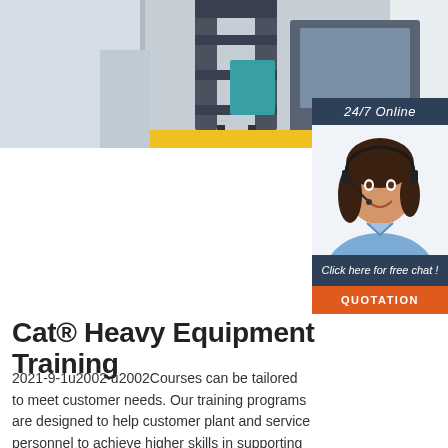[Figure (photo): Forklift heavy equipment machinery in a warehouse or industrial setting, partial top view]
[Figure (photo): Customer service agent woman smiling with headset, 24/7 online chat widget with dark navy header saying '24/7 Online', text 'Click here for free chat!' and orange QUOTATION button]
Cat® Heavy Equipment Training
2021-9-1u2002·u2002Courses can be tailored to meet customer needs. Our training programs are designed to help customer plant and service personnel to achieve higher skills in supporting and servicing their Cat equipment. Our Training Center offers a variety of courses ranging from basic maintenance to